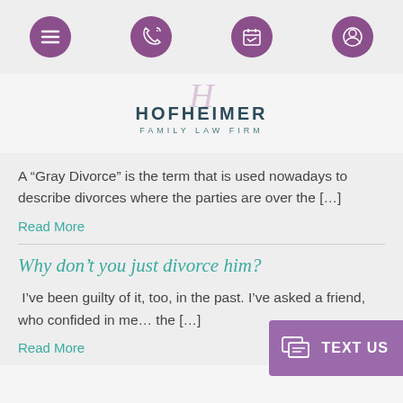[Figure (screenshot): Navigation bar with hamburger menu icon and three circular purple icons for phone, calendar, and user profile]
[Figure (logo): Hofheimer Family Law Firm logo with stylized H script and teal/navy text]
A “Gray Divorce” is the term that is used nowadays to describe divorces where the parties are over the […]
Read More
Why don’t you just divorce him?
I’ve been guilty of it, too, in the past. I’ve asked a friend, who confided in me… the […]
Read More